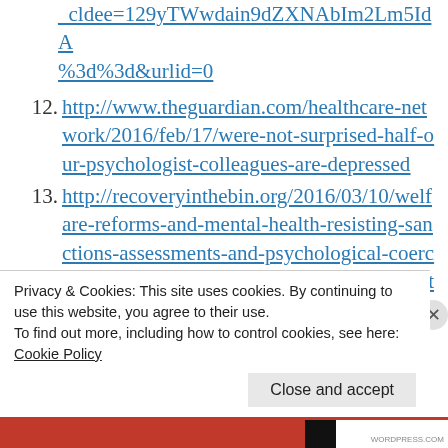_cldee=129yTWwdain9dZXNAbIm2Lm5IdA%3d%3d&urlid=0
12. http://www.theguardian.com/healthcare-network/2016/feb/17/were-not-surprised-half-our-psychologist-colleagues-are-depressed
13. http://recoveryinthebin.org/2016/03/10/welfare-reforms-and-mental-health-resisting-sanctions-assessments-and-psychological-coercion-by-denise-mckenna-mental-health-resistance-
Privacy & Cookies: This site uses cookies. By continuing to use this website, you agree to their use.
To find out more, including how to control cookies, see here: Cookie Policy